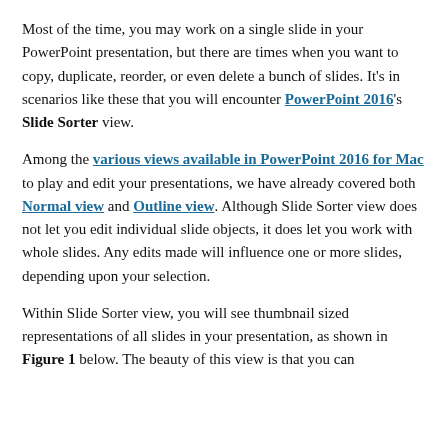Most of the time, you may work on a single slide in your PowerPoint presentation, but there are times when you want to copy, duplicate, reorder, or even delete a bunch of slides. It's in scenarios like these that you will encounter PowerPoint 2016's Slide Sorter view.
Among the various views available in PowerPoint 2016 for Mac to play and edit your presentations, we have already covered both Normal view and Outline view. Although Slide Sorter view does not let you edit individual slide objects, it does let you work with whole slides. Any edits made will influence one or more slides, depending upon your selection.
Within Slide Sorter view, you will see thumbnail sized representations of all slides in your presentation, as shown in Figure 1 below. The beauty of this view is that you can...